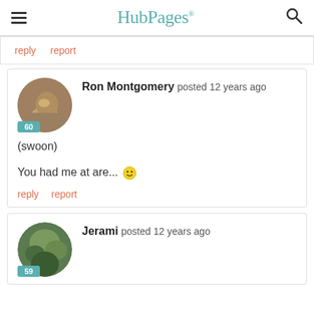HubPages
reply  report
Ron Montgomery posted 12 years ago

(swoon)

You had me at are...😊

reply  report
Jerami posted 12 years ago